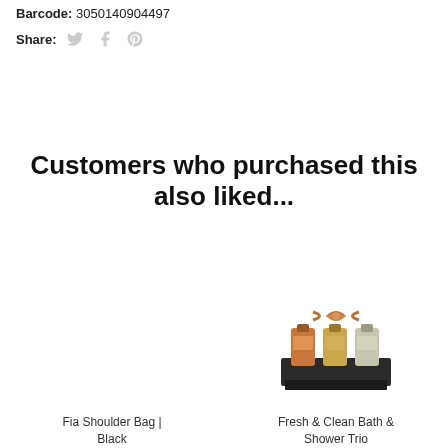Barcode: 3050140904497
Share:
Customers who purchased this also liked...
[Figure (photo): Product image placeholder for Fia Shoulder Bag - Black (empty/white space)]
Fia Shoulder Bag | Black
[Figure (photo): Gift set with three small bottles in a dark box with a brown ribbon bow - Fresh & Clean Bath & Shower Trio product]
Fresh & Clean Bath & Shower Trio